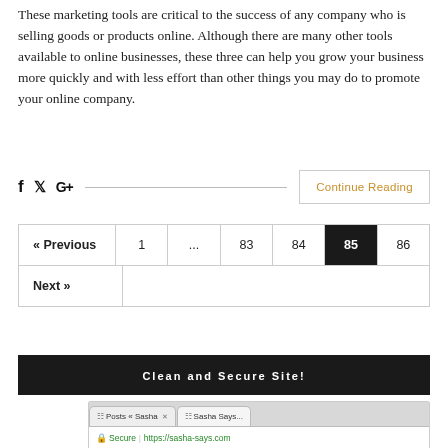These marketing tools are critical to the success of any company who is selling goods or products online. Although there are many other tools available to online businesses, these three can help you grow your business more quickly and with less effort than other things you may do to promote your online company.
[Figure (screenshot): Social sharing icons (f, bird/twitter, G+) with a horizontal divider line and a 'Continue Reading' button on the right side]
[Figure (screenshot): Pagination navigation showing « Previous, 1, ..., 83, 84, 85 (current/highlighted in black), 86, and Next » links in a bordered table layout]
[Figure (screenshot): Black banner with white text reading 'Clean and Secure Site!' and below it a browser screenshot showing browser tabs (Posts « Sasha, Sasha Says...) and address bar with green lock icon, 'Secure | https://sasha-says.com', followed by orange arrow indicators]